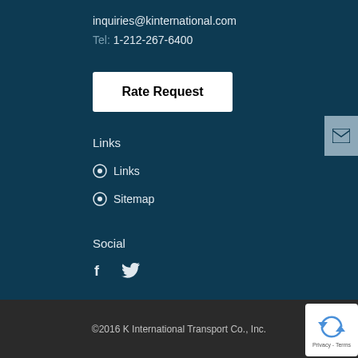inquiries@kinternational.com
Tel: 1-212-267-6400
Rate Request
Links
Links
Sitemap
Social
[Figure (other): Social media icons: Facebook (f) and Twitter (bird)]
©2016 K International Transport Co., Inc.